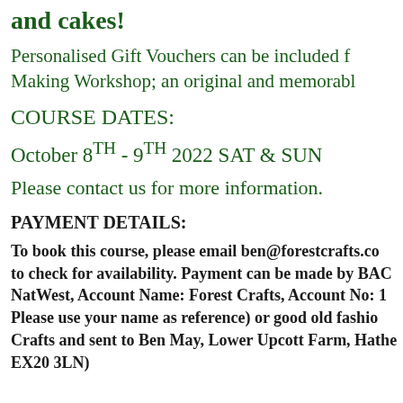and cakes!
Personalised Gift Vouchers can be included for a Making Workshop; an original and memorable
COURSE DATES:
October 8TH - 9TH 2022 SAT & SUN
Please contact us for more information.
PAYMENT DETAILS:
To book this course, please email ben@forestcrafts.co to check for availability. Payment can be made by BAC NatWest, Account Name: Forest Crafts, Account No: 1 Please use your name as reference) or good old fashio Crafts and sent to Ben May, Lower Upcott Farm, Hathe EX20 3LN)